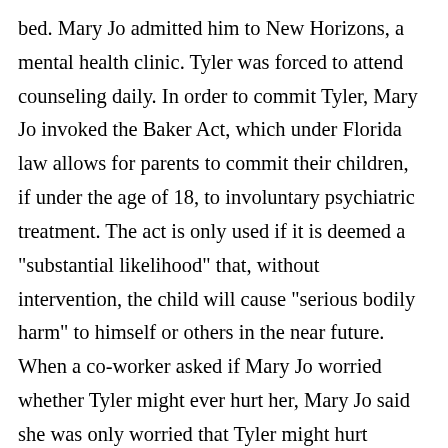bed. Mary Jo admitted him to New Horizons, a mental health clinic. Tyler was forced to attend counseling daily. In order to commit Tyler, Mary Jo invoked the Baker Act, which under Florida law allows for parents to commit their children, if under the age of 18, to involuntary psychiatric treatment. The act is only used if it is deemed a "substantial likelihood" that, without intervention, the child will cause "serious bodily harm" to himself or others in the near future. When a co-worker asked if Mary Jo worried whether Tyler might ever hurt her, Mary Jo said she was only worried that Tyler might hurt himself. Mary Jo suffered from depression, and worried that her son might suffer from it as well. He had received counseling for depression in the past, as well as for an eating disorder and poor self-esteem. In fact Mary Jo had Tyler take injections of human growth hormone during his early adolescence because she thought it might boost his